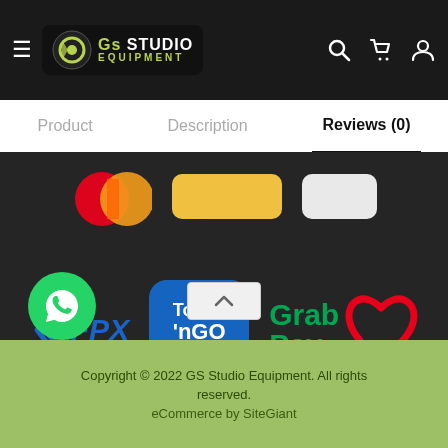GS Studio Equipment - navigation header with logo, hamburger menu, search, cart, and user icons
Product | Description | Reviews (0) - navigation tabs, Reviews (0) is active
[Figure (logo): Payment method logos on dark background: Mastercard (partial), Touch 'n Go eWallet, GrabPay heart logo, FPX logo]
Copyright © 2022 GS Studio Equipment. All rights reserved. eCommerce by SiteGiant